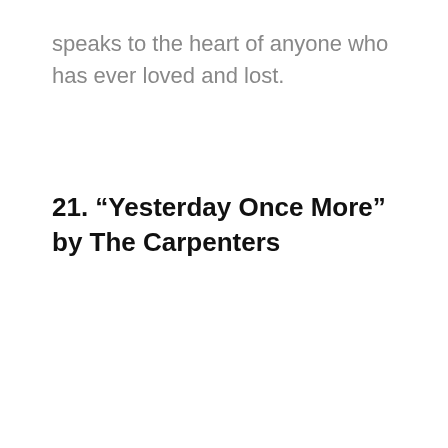speaks to the heart of anyone who has ever loved and lost.
21. “Yesterday Once More” by The Carpenters